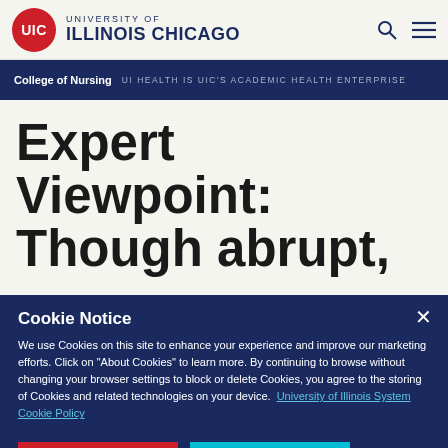University of Illinois Chicago
College of Nursing  UI HEALTH IS UIC'S ACADEMIC HEALTH ENTERPRISE
Expert Viewpoint: Though abrupt,
Cookie Notice
We use Cookies on this site to enhance your experience and improve our marketing efforts. Click on “About Cookies” to learn more. By continuing to browse without changing your browser settings to block or delete Cookies, you agree to the storing of Cookies and related technologies on your device.  University of Illinois System Cookie Policy